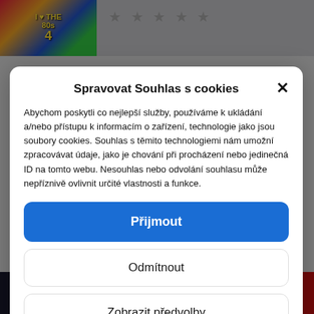[Figure (screenshot): Background showing a media/TV website with colorful thumbnail images and star ratings. Top-left thumbnail is 'I Love the 80s 4' styled banner. Bottom area shows 'Overdrive' styled banner.]
Spravovat Souhlas s cookies
Abychom poskytli co nejlepší služby, používáme k ukládání a/nebo přístupu k informacím o zařízení, technologie jako jsou soubory cookies. Souhlas s těmito technologiemi nám umožní zpracovávat údaje, jako je chování při procházení nebo jedinečná ID na tomto webu. Nesouhlas nebo odvolání souhlasu může nepříznivě ovlivnit určité vlastnosti a funkce.
Přijmout
Odmítnout
Zobrazit předvolby
Souhlas se zpracováním osobních údajů